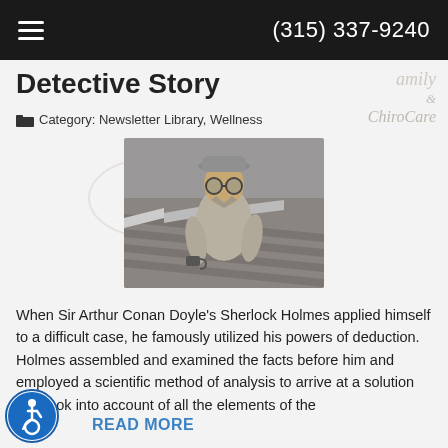(315) 337-9240
Detective Story
Category: Newsletter Library, Wellness
[Figure (photo): Child dressed as a detective wearing a grey hat, large glasses, and a coat, photographed in moody grey tones]
When Sir Arthur Conan Doyle's Sherlock Holmes applied himself to a difficult case, he famously utilized his powers of deduction. Holmes assembled and examined the facts before him and employed a scientific method of analysis to arrive at a solution that took into account of all the elements of the
READ MORE